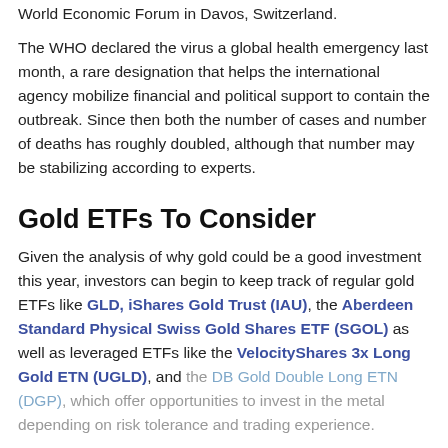World Economic Forum in Davos, Switzerland.
The WHO declared the virus a global health emergency last month, a rare designation that helps the international agency mobilize financial and political support to contain the outbreak. Since then both the number of cases and number of deaths has roughly doubled, although that number may be stabilizing according to experts.
Gold ETFs To Consider
Given the analysis of why gold could be a good investment this year, investors can begin to keep track of regular gold ETFs like GLD, iShares Gold Trust (IAU), the Aberdeen Standard Physical Swiss Gold Shares ETF (SGOL) as well as leveraged ETFs like the VelocityShares 3x Long Gold ETN (UGLD), and the DB Gold Double Long ETN (DGP), which offer opportunities to invest in the metal depending on risk tolerance and trading experience.